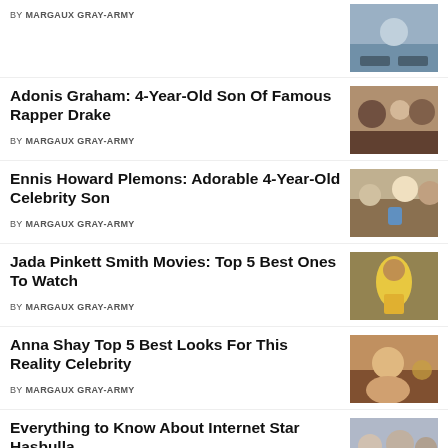BY MARGAUX GRAY-ARMY
[Figure (photo): Photo thumbnail for top article]
Adonis Graham: 4-Year-Old Son Of Famous Rapper Drake
BY MARGAUX GRAY-ARMY
[Figure (photo): Photo of Drake with son Adonis and a woman]
Ennis Howard Plemons: Adorable 4-Year-Old Celebrity Son
BY MARGAUX GRAY-ARMY
[Figure (photo): Photo of celebrity family with baby]
Jada Pinkett Smith Movies: Top 5 Best Ones To Watch
BY MARGAUX GRAY-ARMY
[Figure (photo): Photo of Jada Pinkett Smith in yellow jacket]
Anna Shay Top 5 Best Looks For This Reality Celebrity
BY MARGAUX GRAY-ARMY
[Figure (photo): Photo of Anna Shay]
Everything to Know About Internet Star Hasbulla
BY ELIZABETHLOVATO07
[Figure (photo): Photo related to Hasbulla]